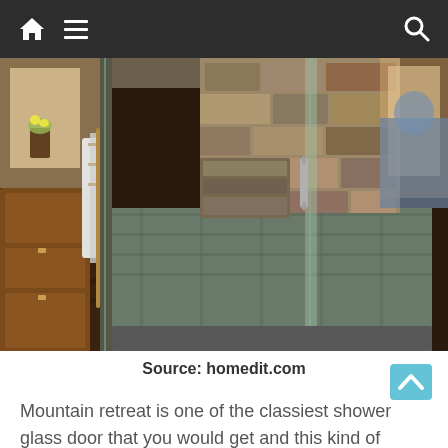Navigation bar with home icon, hamburger menu, and search icon
[Figure (photo): Interior photo of a mountain retreat bathroom featuring a glass-enclosed shower with stone walls, stone bench seating, slate tile floor, wooden vanity with white towels, and hardwood flooring visible outside the shower.]
Source: homedit.com
Mountain retreat is one of the classiest shower glass door that you would get and this kind of